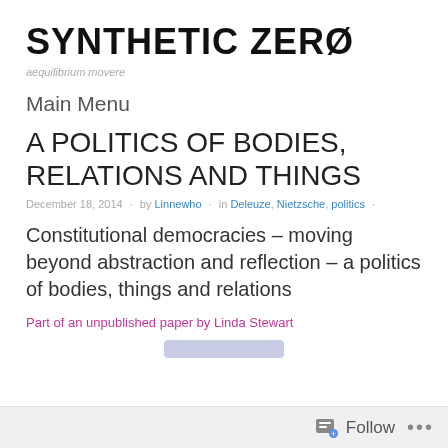SYNTHETIC ZERØ
aequilibrium movere
Main Menu
A POLITICS OF BODIES, RELATIONS AND THINGS
December 18, 2014 · by Linnewho · in Deleuze, Nietzsche, politics ·
Constitutional democracies – moving beyond abstraction and reflection – a politics of bodies, things and relations
Part of an unpublished paper by Linda Stewart
Follow ...